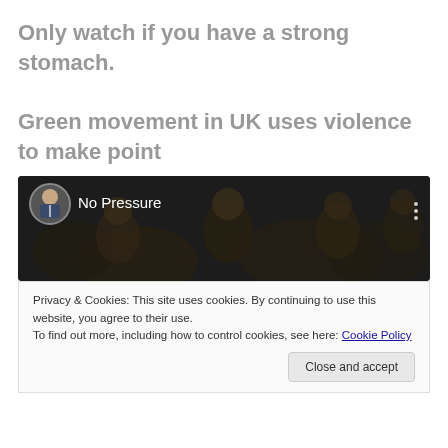Only watch if you have a strong stomach.

Green movement in UK uses violence to make point
[Figure (screenshot): A video thumbnail showing a dark image of a crowd of people with the title 'No Pressure' overlaid, along with a circular avatar of a man in a suit on the left.]
Privacy & Cookies: This site uses cookies. By continuing to use this website, you agree to their use.
To find out more, including how to control cookies, see here: Cookie Policy
Close and accept